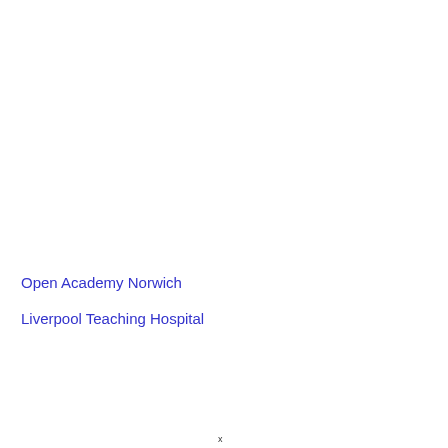Open Academy Norwich
Liverpool Teaching Hospital
x